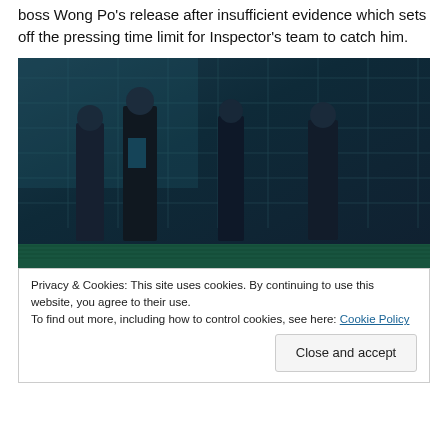boss Wong Po's release after insufficient evidence which sets off the pressing time limit for Inspector's team to catch him.
[Figure (photo): Four people dressed in dark suits standing on a rooftop or elevated surface at night, with a dark teal/blue building facade with grid windows in the background and a green ledge at the bottom.]
Privacy & Cookies: This site uses cookies. By continuing to use this website, you agree to their use.
To find out more, including how to control cookies, see here: Cookie Policy